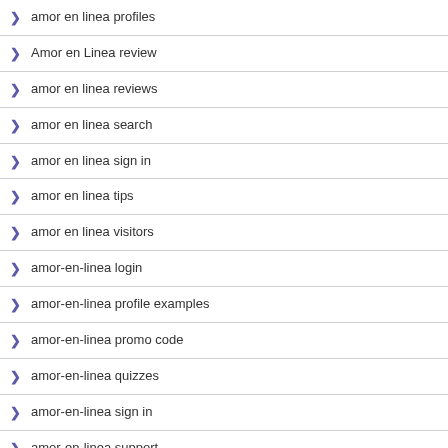amor en linea profiles
Amor en Linea review
amor en linea reviews
amor en linea search
amor en linea sign in
amor en linea tips
amor en linea visitors
amor-en-linea login
amor-en-linea profile examples
amor-en-linea promo code
amor-en-linea quizzes
amor-en-linea sign in
amor-en-linea support
amor-en-linea username
amor-en-linea visitors